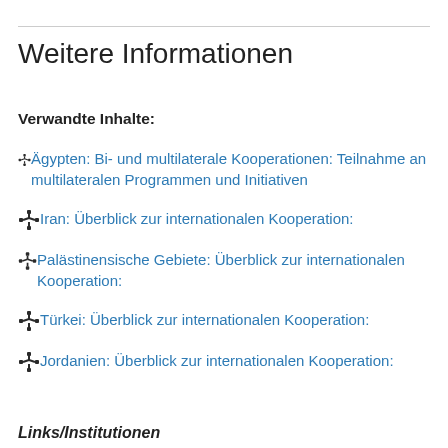Weitere Informationen
Verwandte Inhalte:
Ägypten: Bi- und multilaterale Kooperationen: Teilnahme an multilateralen Programmen und Initiativen
Iran: Überblick zur internationalen Kooperation:
Palästinensische Gebiete: Überblick zur internationalen Kooperation:
Türkei: Überblick zur internationalen Kooperation:
Jordanien: Überblick zur internationalen Kooperation:
Links/Institutionen